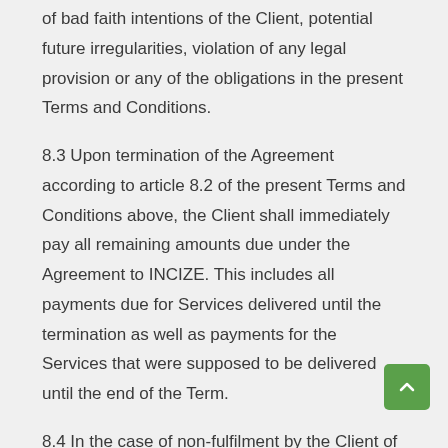of bad faith intentions of the Client, potential future irregularities, violation of any legal provision or any of the obligations in the present Terms and Conditions.
8.3 Upon termination of the Agreement according to article 8.2 of the present Terms and Conditions above, the Client shall immediately pay all remaining amounts due under the Agreement to INCIZE. This includes all payments due for Services delivered until the termination as well as payments for the Services that were supposed to be delivered until the end of the Term.
8.4 In the case of non-fulfilment by the Client of its obligations or in default of payment of invoices according to the conditions specified in article 5 of the present Terms and Conditions, INCIZE may suspend the delivery of its Services without the suspension leading to a termination of the Agreement.